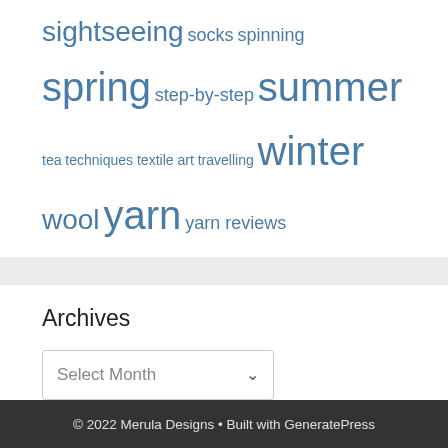sightseeing socks spinning spring step-by-step summer tea techniques textile art travelling winter wool yarn yarn reviews
Archives
Select Month
© 2022 Merula Designs • Built with GeneratePress